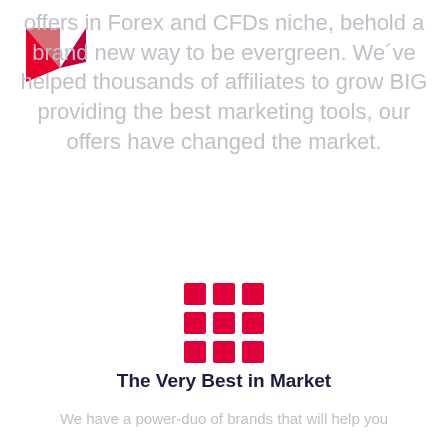[Figure (logo): Red and pink geometric letter M logo (Admirals/Admiral Markets style)]
offers in Forex and CFDs niche, behold a brand new way to be evergreen. We've helped thousands of affiliates to grow BIG providing the best marketing tools, our offers have changed the market.
[Figure (illustration): 3x3 grid of pink/crimson squares icon]
The Very Best in Market
We have a power-duo of brands that will help you